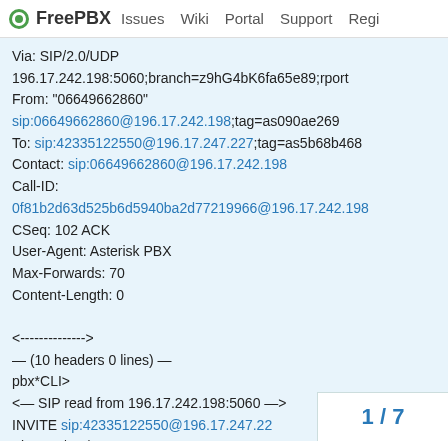FreePBX  Issues  Wiki  Portal  Support  Regi
Via: SIP/2.0/UDP
196.17.242.198:5060;branch=z9hG4bK6fa65e89;rport
From: "06649662860"
sip:06649662860@196.17.242.198;tag=as090ae269
To: sip:42335122550@196.17.247.227;tag=as5b68b468
Contact: sip:06649662860@196.17.242.198
Call-ID:
0f81b2d63d525b6d5940ba2d77219966@196.17.242.198
CSeq: 102 ACK
User-Agent: Asterisk PBX
Max-Forwards: 70
Content-Length: 0

<-------------->
— (10 headers 0 lines) —
pbx*CLI>
<— SIP read from 196.17.242.198:5060 —>
INVITE sip:42335122550@196.17.247.22
Via: SIP/2.0/UDP
1 / 7